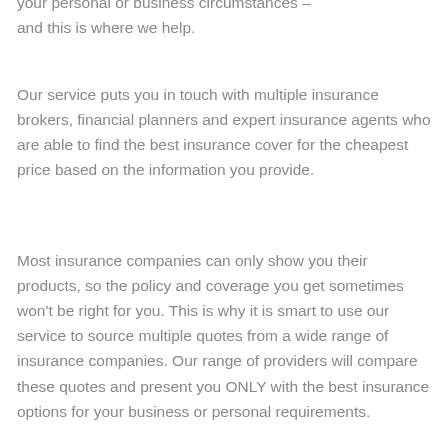your personal or business circumstances – and this is where we help.
Our service puts you in touch with multiple insurance brokers, financial planners and expert insurance agents who are able to find the best insurance cover for the cheapest price based on the information you provide.
Most insurance companies can only show you their products, so the policy and coverage you get sometimes won't be right for you. This is why it is smart to use our service to source multiple quotes from a wide range of insurance companies. Our range of providers will compare these quotes and present you ONLY with the best insurance options for your business or personal requirements.